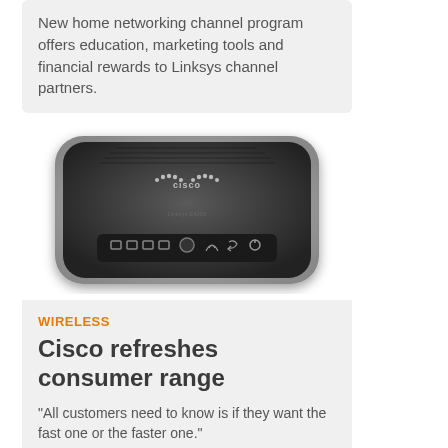New home networking channel program offers education, marketing tools and financial rewards to Linksys channel partners.
[Figure (photo): Top-down view of a Cisco/Linksys wireless router, black and silver, showing Cisco logo and port indicators on the front panel.]
WIRELESS
Cisco refreshes consumer range
"All customers need to know is if they want the fast one or the faster one."